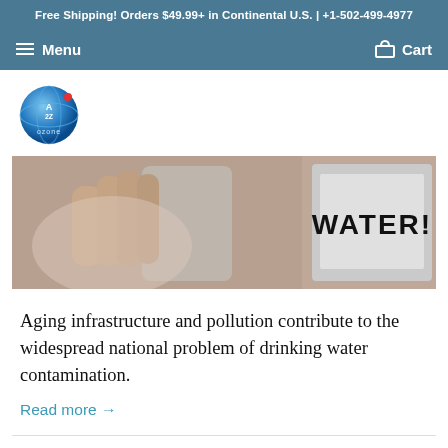Free Shipping! Orders $49.99+ in Continental U.S. | +1-502-499-4977
Menu   Cart
[Figure (logo): A2Z Ozone logo — blue sphere with A2Z text and 'ozone' beneath]
[Figure (photo): A hand holding a glass of water next to a sign reading WATER!]
Aging infrastructure and pollution contribute to the widespread national problem of drinking water contamination.
Read more →